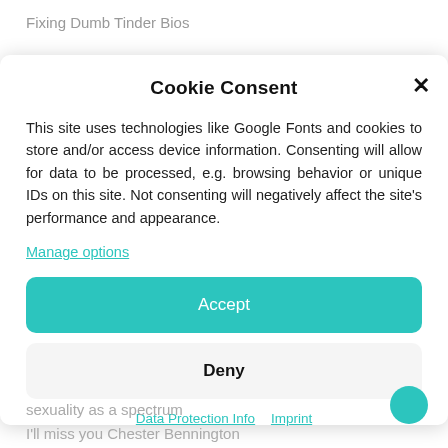Fixing Dumb Tinder Bios
Cookie Consent
This site uses technologies like Google Fonts and cookies to store and/or access device information. Consenting will allow for data to be processed, e.g. browsing behavior or unique IDs on this site. Not consenting will negatively affect the site's performance and appearance.
Manage options
Accept
Deny
Data Protection Info   Imprint
sexuality as a spectrum
I'll miss you Chester Bennington